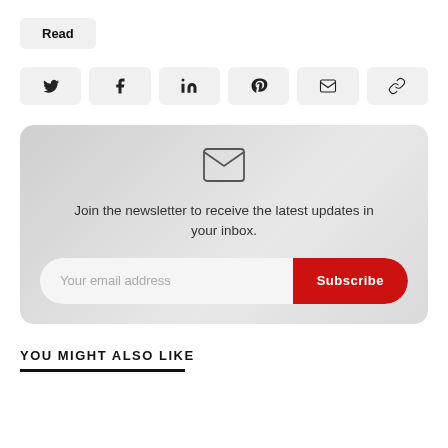Read
[Figure (infographic): Row of six social sharing icon buttons: Twitter, Facebook, LinkedIn, Pinterest, Email, Link]
[Figure (infographic): Newsletter signup card with envelope icon, text 'Join the newsletter to receive the latest updates in your inbox.', email input field, and red Subscribe button]
YOU MIGHT ALSO LIKE